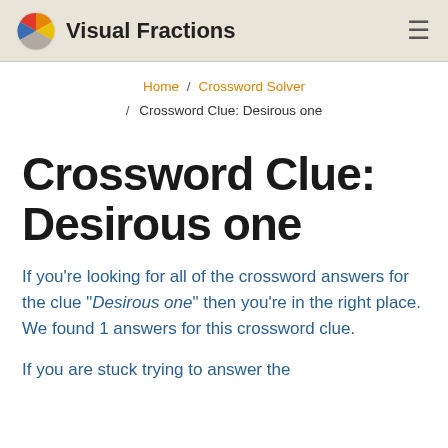Visual Fractions
Home / Crossword Solver / Crossword Clue: Desirous one
Crossword Clue: Desirous one
If you're looking for all of the crossword answers for the clue "Desirous one" then you're in the right place. We found 1 answers for this crossword clue.
If you are stuck trying to answer the